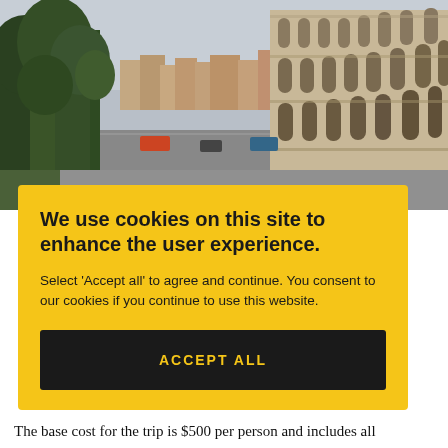[Figure (photo): Photograph of the Colosseum in Rome with trees and city buildings visible in the background, street with traffic below]
We use cookies on this site to enhance the user experience.
Select 'Accept all' to agree and continue. You consent to our cookies if you continue to use this website.
ACCEPT ALL
The base cost for the trip is $500 per person and includes all